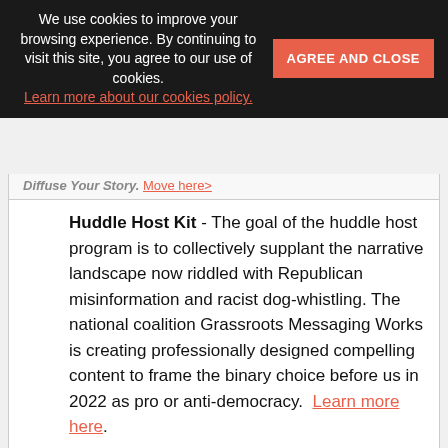We use cookies to improve your browsing experience. By continuing to visit this site, you agree to our use of cookies. Learn more about our cookies policy.
AGREE AND CLOSE
Huddle Host Kit - The goal of the huddle host program is to collectively supplant the narrative landscape now riddled with Republican misinformation and racist dog-whistling. The national coalition Grassroots Messaging Works is creating professionally designed compelling content to frame the binary choice before us in 2022 as pro or anti-democracy. Learn more here.
☐ Learn about what major Women's Activist Organizations are doing. Check out:
VoteEquality
Planned Parenthood